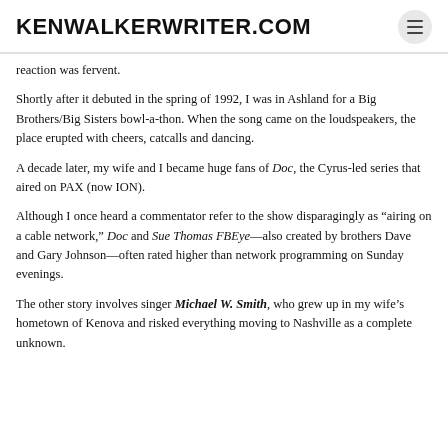KENWALKERWRITER.COM
reaction was fervent.
Shortly after it debuted in the spring of 1992, I was in Ashland for a Big Brothers/Big Sisters bowl-a-thon. When the song came on the loudspeakers, the place erupted with cheers, catcalls and dancing.
A decade later, my wife and I became huge fans of Doc, the Cyrus-led series that aired on PAX (now ION).
Although I once heard a commentator refer to the show disparagingly as “airing on a cable network,” Doc and Sue Thomas FBEye—also created by brothers Dave and Gary Johnson—often rated higher than network programming on Sunday evenings.
The other story involves singer Michael W. Smith, who grew up in my wife’s hometown of Kenova and risked everything moving to Nashville as a complete unknown.